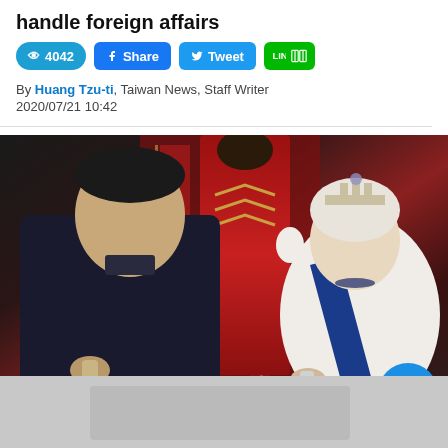handle foreign affairs
👁 4042   Share   Tweet   LINE
By Huang Tzu-ti, Taiwan News, Staff Writer
2020/07/21 10:42
[Figure (photo): Photo of two people clinking glasses at a formal banquet. On the left is a man in a dark jacket, on the right is an elderly woman wearing a crown/tiara, white dress, and blue sash with jewelry. Background shows a man in red ceremonial uniform and ornate red decor.]
[Figure (other): Gray blurred banner at the bottom of the page]